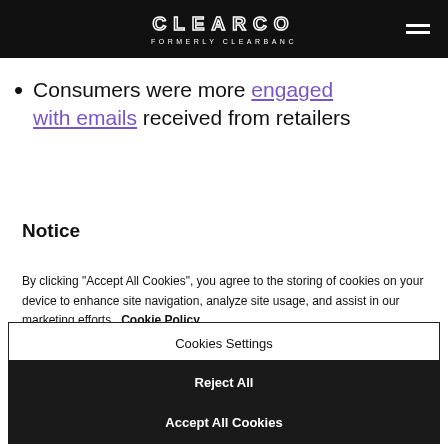CLEARCO FORMERLY CLEARBANC
Consumers were more engaged with emails received from retailers
Notice
By clicking "Accept All Cookies", you agree to the storing of cookies on your device to enhance site navigation, analyze site usage, and assist in our marketing efforts. Cookie Policy.
Cookies Settings
Reject All
Accept All Cookies